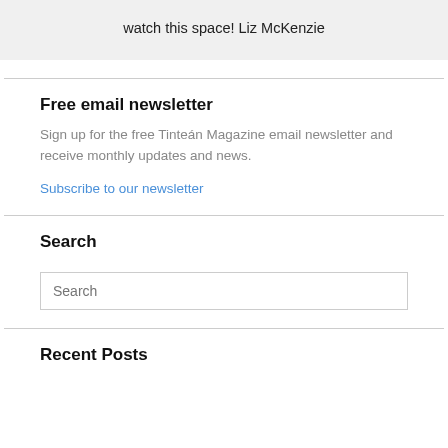watch this space! Liz McKenzie
Free email newsletter
Sign up for the free Tinteán Magazine email newsletter and receive monthly updates and news.
Subscribe to our newsletter
Search
Search
Recent Posts